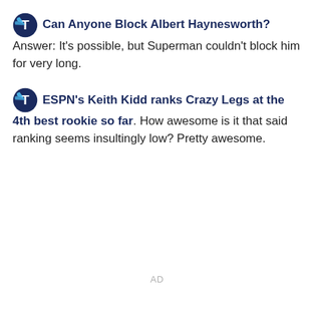🏈 Can Anyone Block Albert Haynesworth?  Answer: It's possible, but Superman couldn't block him for very long.
🏈 ESPN's Keith Kidd ranks Crazy Legs at the 4th best rookie so far.  How awesome is it that said ranking seems insultingly low?  Pretty awesome.
AD